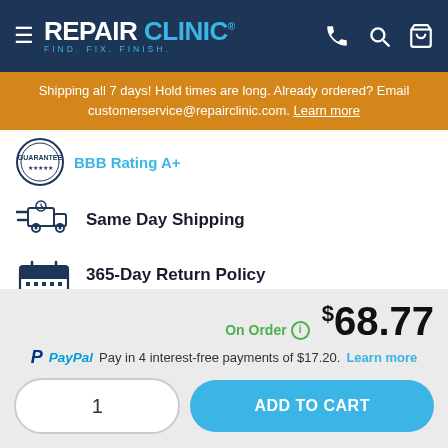REPAIR CLINIC - FIND. FIX. FINISH.
Shipping all 7 days! Hold times are long. Already ordered? Email customerservice@repairclinic.com. Learn more
BBB Rating A+
Same Day Shipping
365-Day Return Policy
Return anything within 365 days
On Order  $68.77
PayPal Pay in 4 interest-free payments of $17.20. Learn more
1
ADD TO CART